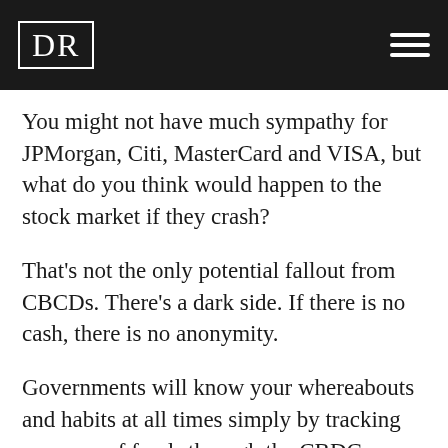DR
You might not have much sympathy for JPMorgan, Citi, MasterCard and VISA, but what do you think would happen to the stock market if they crash?
That's not the only potential fallout from CBCDs. There's a dark side. If there is no cash, there is no anonymity.
Governments will know your whereabouts and habits at all times simply by tracking your use of funds through the CBDC payment system.
This can already be done, to some extent, by tracking credit card transactions, but the CBDC system will make state surveillance more pervasive.